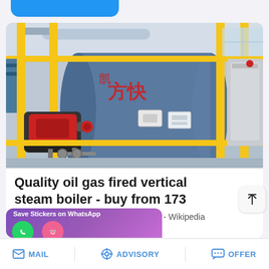[Figure (photo): Industrial oil gas fired horizontal steam boiler with red burner attachment, yellow metal railings and frame, blue cylindrical boiler body with Chinese characters, control cabinet on right, photographed in a boiler room facility.]
Quality oil gas fired vertical steam boiler - buy from 173
- Wikipedia
MAIL   ADVISORY   OFFER